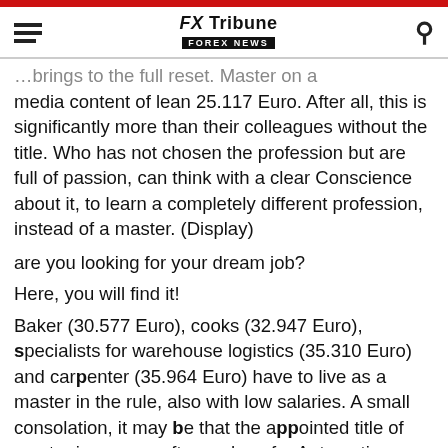FX Tribune FOREX NEWS
…brings to the full reset. Master on a media content of lean 25.117 Euro. After all, this is significantly more than their colleagues without the title. Who has not chosen the profession but are full of passion, can think with a clear Conscience about it, to learn a completely different profession, instead of a master. (Display)
are you looking for your dream job?
Here, you will find it!
Baker (30.577 Euro), cooks (32.947 Euro), specialists for warehouse logistics (35.310 Euro) and carpenter (35.964 Euro) have to live as a master in the rule, also with low salaries. A small consolation, it may be that the appointed title of master in some craft – such as for Automotive technicians – a prerequisite for